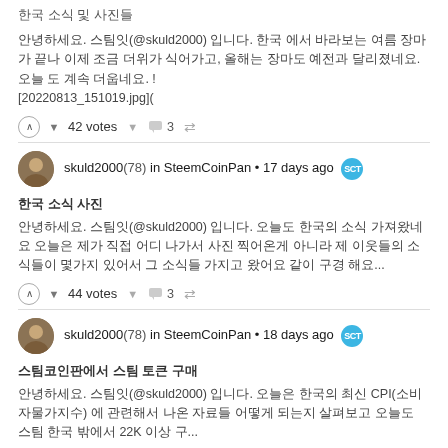한국 소식 및 사진들
안녕하세요. 스팀잇(@skuld2000) 입니다. 한국 에서 바라보는 여름 장마가 끝나 이제 조금 더위가 식어가고, 올해는 장마도 예전과 달리졌네요. 오늘 도 계속 더웁네요. ! [20220813_151019.jpg](
42 votes  🗨 3
skuld2000(78) in SteemCoinPan • 17 days ago SCT
한국 소식 사진
안녕하세요. 스팀잇(@skuld2000) 입니다. 오늘도 한국의 소식 가져왔네요 오늘은 제가 직접 어디 나가서 사진 찍어온게 아니라 제 이웃들의 소식들이 몇가지 있어서 그 소식들 가지고 왔어요 같이 구경 해요...
44 votes  🗨 3
skuld2000(78) in SteemCoinPan • 18 days ago SCT
스팀코인판에서 스팀 토큰 구매
안녕하세요. 스팀잇(@skuld2000) 입니다. 오늘은 한국의 최신 CPI(소비자물가지수) 에 관련해서 나온 자료들 어떻게 되는지 살펴보고 오늘도 스팀 한국 밖에서 22K 이상 구...